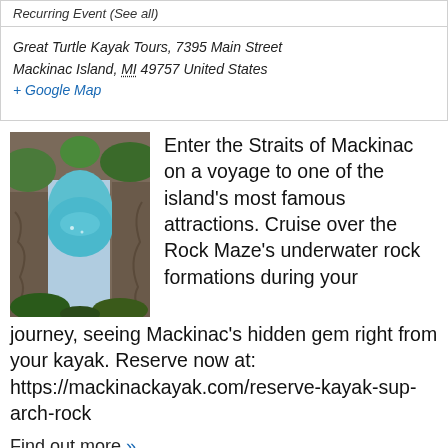Recurring Event (See all)
Great Turtle Kayak Tours, 7395 Main Street Mackinac Island, MI 49757 United States
+ Google Map
[Figure (photo): Natural rock arch formation (Arch Rock on Mackinac Island) with turquoise water visible through the arch, surrounded by green foliage and rocky cliffs.]
Enter the Straits of Mackinac on a voyage to one of the island's most famous attractions. Cruise over the Rock Maze's underwater rock formations during your journey, seeing Mackinac's hidden gem right from your kayak. Reserve now at: https://mackinackayak.com/reserve-kayak-sup-arch-rock
Find out more »